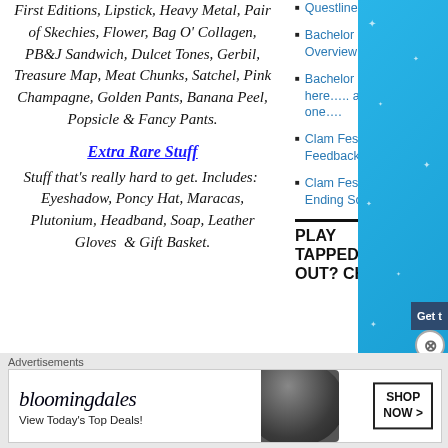First Editions, Lipstick, Heavy Metal, Pair of Skechies, Flower, Bag O' Collagen, PB&J Sandwich, Dulcet Tones, Gerbil, Treasure Map, Meat Chunks, Satchel, Pink Champagne, Golden Pants, Banana Peel, Popsicle & Fancy Pants.
Extra Rare Stuff
Stuff that's really hard to get. Includes: Eyeshadow, Poncy Hat, Maracas, Plutonium, Headband, Soap, Leather Gloves & Gift Basket.
Questline: Bachelor Bad
Bachelor Event Overview!!!
Bachelor Event is here….. and it's a quick one….
Clam Fest – Event Feedback Page
Clam Fest – Event Ending Soon
PLAY TAPPED OUT? CHECK
[Figure (illustration): Blue sparkle sidebar background]
Get t
Advertisements
[Figure (other): Bloomingdale's advertisement banner: 'View Today's Top Deals!' with woman in hat and 'SHOP NOW >' button]